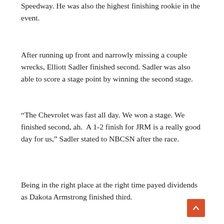Speedway. He was also the highest finishing rookie in the event.
After running up front and narrowly missing a couple wrecks, Elliott Sadler finished second. Sadler was also able to score a stage point by winning the second stage.
“The Chevrolet was fast all day. We won a stage. We finished second, ah.  A 1-2 finish for JRM is a really good day for us,” Sadler stated to NBCSN after the race.
Being in the right place at the right time payed dividends as Dakota Armstrong finished third.